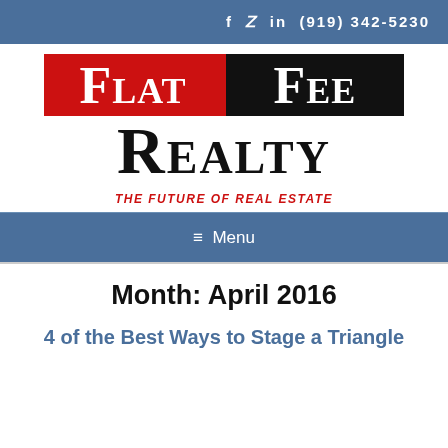f  𝒙  in  (919) 342-5230
[Figure (logo): Flat Fee Realty logo: 'Flat' on red background and 'Fee' on black background in white serif large-caps text, 'Realty' below in black serif large-caps text]
THE FUTURE OF REAL ESTATE
≡  Menu
Month: April 2016
4 of the Best Ways to Stage a Triangle...